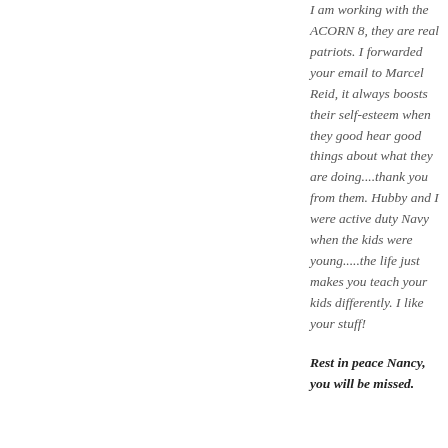I am working with the ACORN 8, they are real patriots. I forwarded your email to Marcel Reid, it always boosts their self-esteem when they good hear good things about what they are doing....thank you from them. Hubby and I were active duty Navy when the kids were young.....the life just makes you teach your kids differently. I like your stuff!
Rest in peace Nancy, you will be missed.